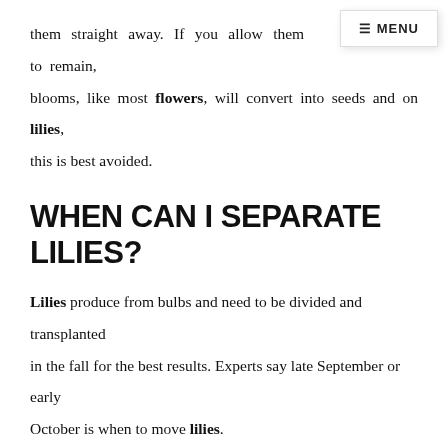them straight away. If you allow them to remain, blooms, like most flowers, will convert into seeds and on lilies, this is best avoided.
WHEN CAN I SEPARATE LILIES?
Lilies produce from bulbs and need to be divided and transplanted in the fall for the best results. Experts say late September or early October is when to move lilies.
DO ASIATIC LILY BULBS MULTIPLY?